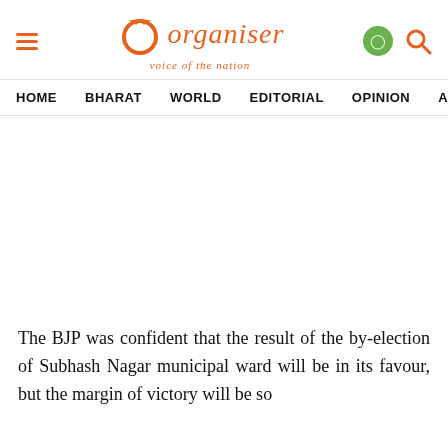Organiser — voice of the nation
HOME  BHARAT  WORLD  EDITORIAL  OPINION  ANA
The BJP was confident that the result of the by-election of Subhash Nagar municipal ward will be in its favour, but the margin of victory will be so